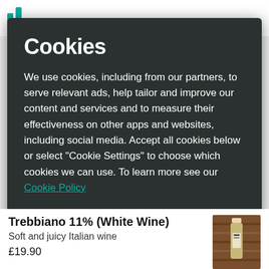[Figure (screenshot): Website top navigation bar with teal logo icon]
Cookies
We use cookies, including from our partners, to serve relevant ads, help tailor and improve our content and services and to measure their effectiveness on other apps and websites, including social media. Accept all cookies below or select “Cookie Settings” to choose which cookies we can use. To learn more see our Cookie Policy
Cookie Settings
Accept All Cookies
Trebbiano 11% (White Wine)
Soft and juicy Italian wine
£19.90
[Figure (photo): Bottle of white wine against a background of stacked wood logs]